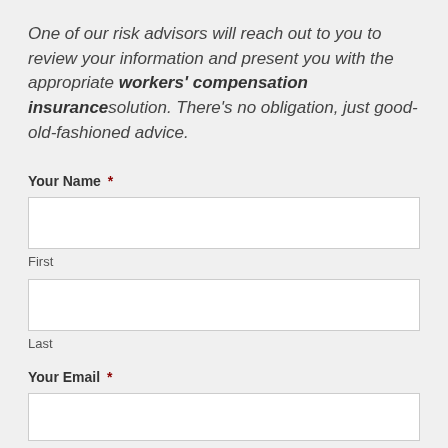One of our risk advisors will reach out to you to review your information and present you with the appropriate workers' compensation insurance solution. There's no obligation, just good-old-fashioned advice.
Your Name *
First
Last
Your Email *